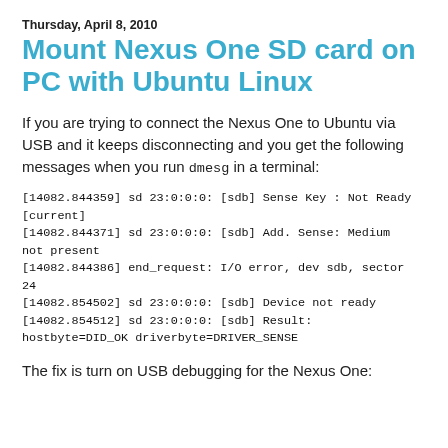Thursday, April 8, 2010
Mount Nexus One SD card on PC with Ubuntu Linux
If you are trying to connect the Nexus One to Ubuntu via USB and it keeps disconnecting and you get the following messages when you run dmesg in a terminal:
[14082.844359] sd 23:0:0:0: [sdb] Sense Key : Not Ready [current]
[14082.844371] sd 23:0:0:0: [sdb] Add. Sense: Medium not present
[14082.844386] end_request: I/O error, dev sdb, sector 24
[14082.854502] sd 23:0:0:0: [sdb] Device not ready
[14082.854512] sd 23:0:0:0: [sdb] Result: hostbyte=DID_OK driverbyte=DRIVER_SENSE
The fix is turn on USB debugging for the Nexus One: